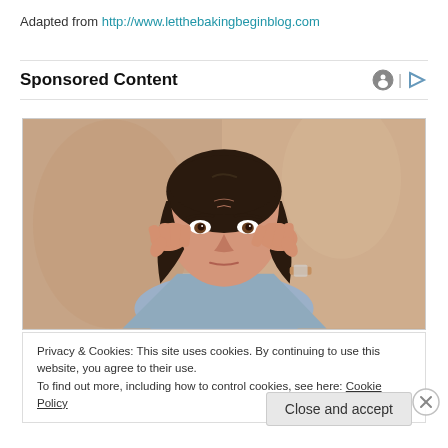Adapted from http://www.letthebakingbeginblog.com
Sponsored Content
[Figure (photo): Woman with dark hair holding her temples/head with both hands, looking stressed, sitting in front of a beige/tan blurred background]
Privacy & Cookies: This site uses cookies. By continuing to use this website, you agree to their use.
To find out more, including how to control cookies, see here: Cookie Policy
Close and accept